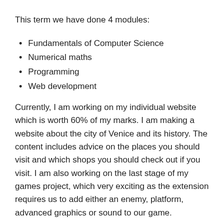This term we have done 4 modules:
Fundamentals of Computer Science
Numerical maths
Programming
Web development
Currently, I am working on my individual website which is worth 60% of my marks. I am making a website about the city of Venice and its history. The content includes advice on the places you should visit and which shops you should check out if you visit. I am also working on the last stage of my games project, which very exciting as the extension requires us to add either an enemy, platform, advanced graphics or sound to our game.
My plan for the future